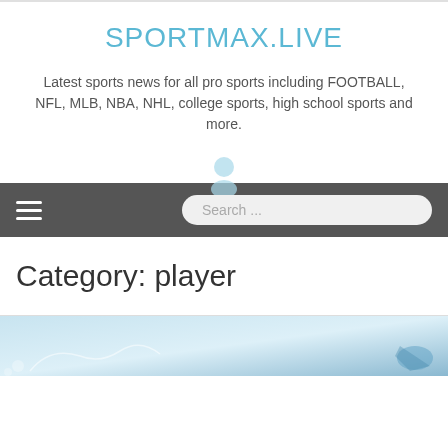SPORTMAX.LIVE
Latest sports news for all pro sports including FOOTBALL, NFL, MLB, NBA, NHL, college sports, high school sports and more.
[Figure (illustration): Navigation bar with hamburger menu icon on left and search box on right, on dark gray background, with blue user avatar icon above]
Category: player
[Figure (photo): Partial image of winter sports scene with blue and white tones, appears to show a skier or athlete]